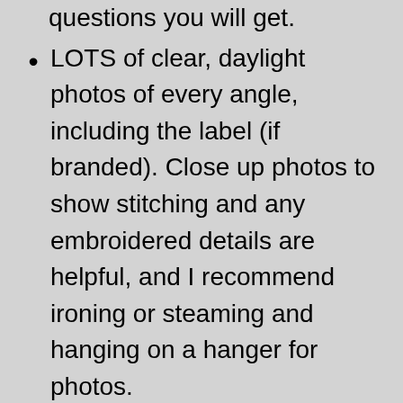date), and this reduces the number of questions you will get.
LOTS of clear, daylight photos of every angle, including the label (if branded). Close up photos to show stitching and any embroidered details are helpful, and I recommend ironing or steaming and hanging on a hanger for photos.
Price when purchased new. I think this helps in justifying your price, a lot of folks don't realize how expensive these outfits are.
If there's room inside for alteration, plus a photo of how much